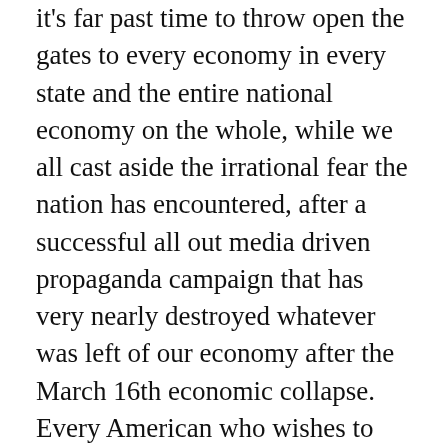it's far past time to throw open the gates to every economy in every state and the entire national economy on the whole, while we all cast aside the irrational fear the nation has encountered, after a successful all out media driven propaganda campaign that has very nearly destroyed whatever was left of our economy after the March 16th economic collapse. Every American who wishes to have any chance at a decent life must simply refuse to obey or comply with any more outrageous orders based on VooDoo "science" with no basis in fact, and we can all let this be a new start to a new populist grassroots movement opposed to the entire establishment, as it currently exists, in the name of Freedom and Liberty — upholding the Inalienable Right to Free Speech and Religious Freedom — to end the rule